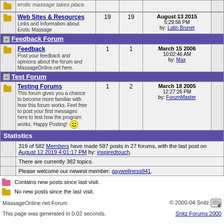|  | Forum | Topics | Posts | Last Post |  |
| --- | --- | --- | --- | --- | --- |
| [folder] | Web Sites & Resources
Links and Information about Erotic Massage | 19 | 19 | August 13 2015
5:29:56 PM
by: Latin Brunet |  |
| Feedback Forum section header |  |  |  |  |  |
| [folder] | Feedback
Post your feedback and opinions about the forum and MassageOnline.net here. | 1 | 1 | March 15 2006
10:02:46 AM
by: Max |  |
| Test Forum section header |  |  |  |  |  |
| [folder] | Testing Forums
This forum gives you a chance to become more familiar with how this forum works. Feel free to post your first messages here to test how the program works. Happy Posting! :) | 1 | 2 | March 18 2005
12:27:26 PM
by: ForumMaster |  |
| Statistics section header |  |  |  |  |  |
|  | 319 of 582 Members have made 597 posts in 27 forums, with the last post on August 12 2019 4:01:17 PM by: inspiredtouch. |  |  |  |  |
|  | There are currently 382 topics. |  |  |  |  |
|  | Please welcome our newest member: gaywellness841. |  |  |  |  |
Contains new posts since last visit.
No new posts since the last visit.
MassageOnline.net Forum  © 2000-04 Snitz
This page was generated in 0.02 seconds.  Snitz Forums 2000